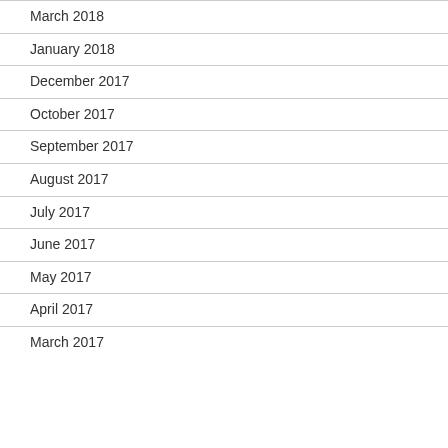March 2018
January 2018
December 2017
October 2017
September 2017
August 2017
July 2017
June 2017
May 2017
April 2017
March 2017